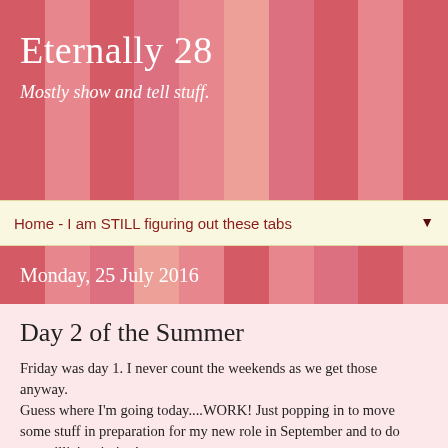Eternally 28
Mostly show and tell stuff.
Home - I am STILL figuring out these tabs ▼
Monday, 25 July 2016
Day 2 of the Summer
Friday was day 1. I never count the weekends as we get those anyway.
Guess where I'm going today....WORK! Just popping in to move some stuff in preparation for my new role in September and to do some illicit printing!
The last week of term was mad! It was so hot. I spent about 50 hours, going through 5000 photographs making the end of term tear jerker Y6 Leaver's videos. It was a great success. Maximum